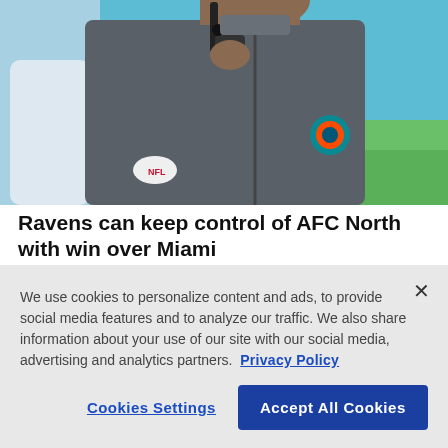[Figure (photo): A man wearing a Miami Dolphins NFL vest holding a headset/communication device to his mouth, photographed on a football sideline with a teal/blue background]
Ravens can keep control of AFC North with win over Miami
We use cookies to personalize content and ads, to provide social media features and to analyze our traffic. We also share information about your use of our site with our social media, advertising and analytics partners. Privacy Policy
Cookies Settings | Accept All Cookies